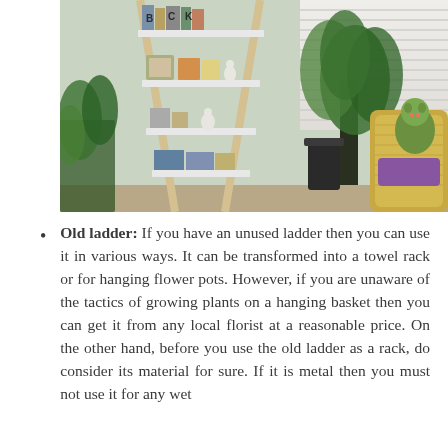[Figure (photo): A room interior showing a wooden ladder repurposed as a shelf unit, holding books, decorative items, and figurines. To the right is a wicker chair with a stuffed animal and purple pillow. A large green palm plant is visible in the background near a window with white blinds.]
Old ladder: If you have an unused ladder then you can use it in various ways. It can be transformed into a towel rack or for hanging flower pots. However, if you are unaware of the tactics of growing plants on a hanging basket then you can get it from any local florist at a reasonable price. On the other hand, before you use the old ladder as a rack, do consider its material for sure. If it is metal then you must not use it for any wet